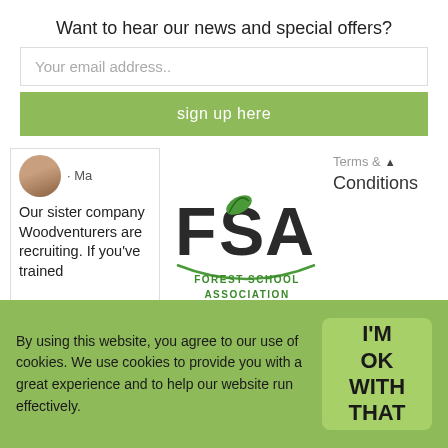Want to hear our news and special offers?
Your email address..
sign up here
· Ma
Our sister company Woodventurers are recruiting. If you've trained
[Figure (logo): Forest School Association logo with FSA letters and leaf design]
Terms & Conditions
By using this website, you agree to our use of cookies. We use cookies to provide you with a great experience and to help our website run effectively.
I'M OK WITH THAT